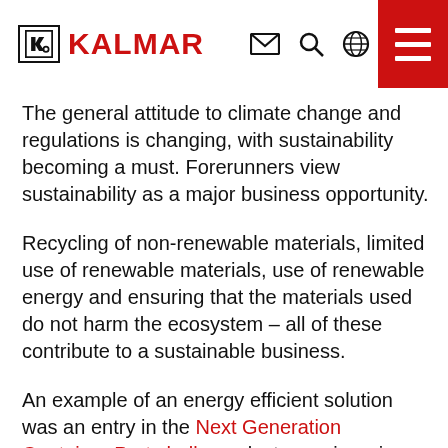KALMAR
The general attitude to climate change and regulations is changing, with sustainability becoming a must. Forerunners view sustainability as a major business opportunity.
Recycling of non-renewable materials, limited use of renewable materials, use of renewable energy and ensuring that the materials used do not harm the ecosystem – all of these contribute to a sustainable business.
An example of an energy efficient solution was an entry in the Next Generation Container Port challenge last year, involving a proposal to use